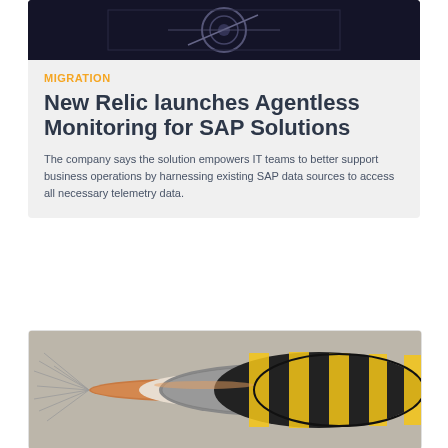[Figure (photo): Dark background photo, appears to show mechanical/tech equipment in dark blue/black tones]
MIGRATION
New Relic launches Agentless Monitoring for SAP Solutions
The company says the solution empowers IT teams to better support business operations by harnessing existing SAP data sources to access all necessary telemetry data.
[Figure (photo): Photo of coaxial cables cross-section showing copper wire, mesh shielding, and black/yellow striped outer jacket]